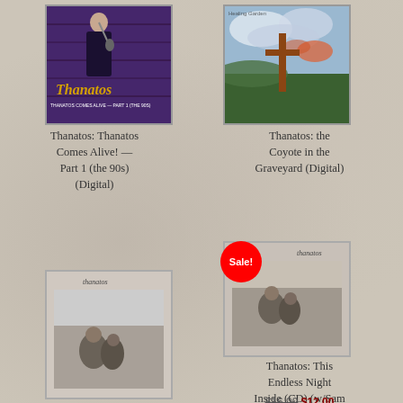[Figure (photo): Album cover: Thanatos: Thanatos Comes Alive! Part 1 (the 90s) - shows person at microphone with purple/dark background and yellow Thanatos logo text]
Thanatos: Thanatos Comes Alive! — Part 1 (the 90s) (Digital)
[Figure (photo): Album cover: Thanatos: the Coyote in the Graveyard - shows a cross in a field with colorful painterly background]
Thanatos: the Coyote in the Graveyard (Digital)
[Figure (photo): Album cover with Sale! badge overlay: Thanatos: This Endless Night Inside - black and white photo of person crouching outdoors, with 'thanatos' text label]
[Figure (photo): Album cover: Thanatos: This Endless Night Inside - same black and white photo of person crouching outdoors, with 'thanatos' text label (CD version)]
Thanatos: This Endless Night Inside (CD) (w/Sam Rosenthal) #CDSale
$16.99 $12.00